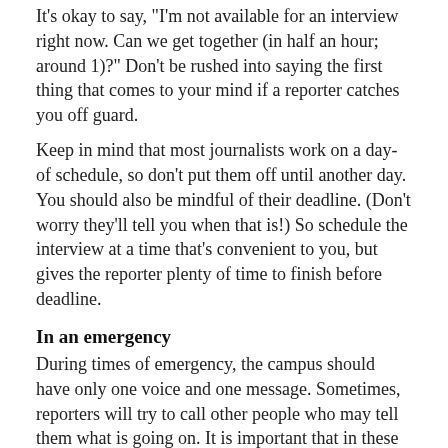It's okay to say, "I'm not available for an interview right now. Can we get together (in half an hour; around 1)?" Don't be rushed into saying the first thing that comes to your mind if a reporter catches you off guard.
Keep in mind that most journalists work on a day-of schedule, so don't put them off until another day. You should also be mindful of their deadline. (Don't worry they'll tell you when that is!) So schedule the interview at a time that's convenient to you, but gives the reporter plenty of time to finish before deadline.
In an emergency
During times of emergency, the campus should have only one voice and one message. Sometimes, reporters will try to call other people who may tell them what is going on. It is important that in these situations that you not answer any questions and refer all calls to University Relations, (662) 329-7119.